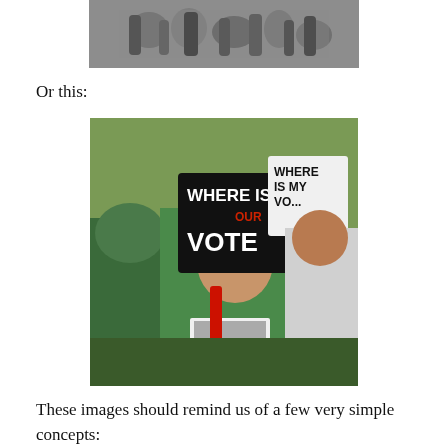[Figure (photo): Black and white historical photograph showing a crowd of people, partially cropped at top of page]
Or this:
[Figure (photo): Color photograph of protesters holding signs reading 'WHERE IS OUR VOTE' and 'WHERE IS MY VO...' — a woman in green headscarf and sunglasses shouts with fist raised]
These images should remind us of a few very simple concepts: